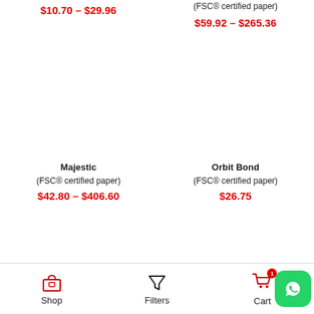$10.70 – $29.96
(FSC® certified paper)
$59.92 – $265.36
Majestic
(FSC® certified paper)
$42.80 – $406.60
Orbit Bond
(FSC® certified paper)
$26.75
Shop   Filters   Cart